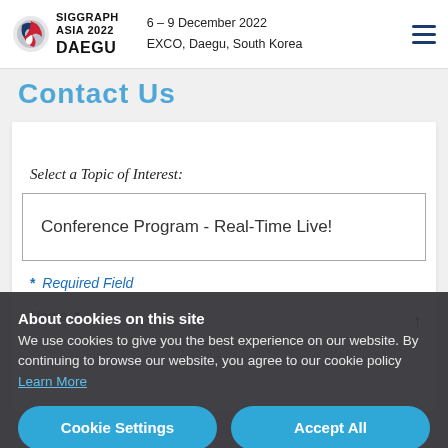SIGGRAPH ASIA 2022 DAEGU — 6 – 9 December 2022, EXCO, Daegu, South Korea
Contact Us
Select a Topic of Interest:
Conference Program - Real-Time Live!
* Required Field
Name *
About cookies on this site
We use cookies to give you the best experience on our website. By continuing to browse our website, you agree to our cookie policy Learn More
Cookie Settings
Accept All